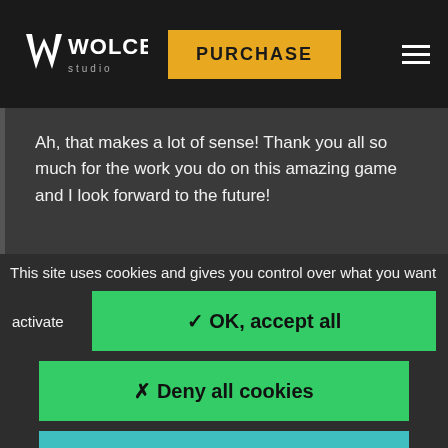WOLCEN Studio — PURCHASE
Ah, that makes a lot of sense! Thank you all so much for the work you do on this amazing game and I look forward to the future!
This site uses cookies and gives you control over what you want to activate
✓ OK, accept all
✗ Deny all cookies
Personalize
Privacy policy